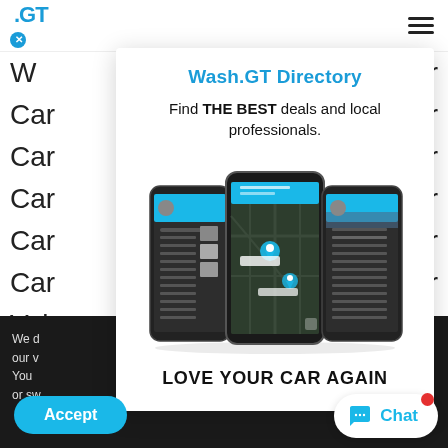[Figure (screenshot): Website page showing car wash related navigation/text rows in background]
Wash.GT Directory
Find THE BEST deals and local professionals.
[Figure (screenshot): Three smartphone mockups showing the Wash.GT app with a map view and menu navigation]
LOVE YOUR CAR AGAIN
We d our v You or sw on ng
Accept
Chat